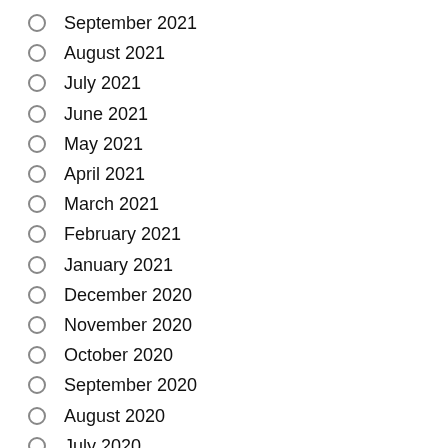September 2021
August 2021
July 2021
June 2021
May 2021
April 2021
March 2021
February 2021
January 2021
December 2020
November 2020
October 2020
September 2020
August 2020
July 2020
June 2020